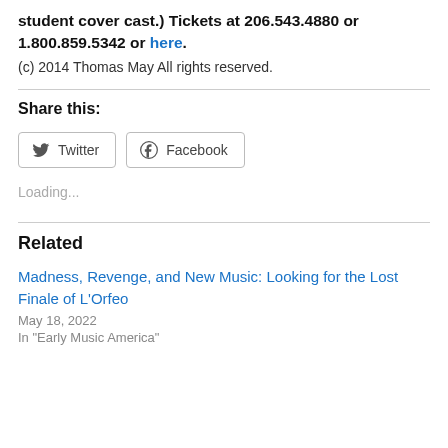student cover cast.) Tickets at 206.543.4880 or 1.800.859.5342 or here.
(c) 2014 Thomas May All rights reserved.
Share this:
Loading...
Related
Madness, Revenge, and New Music: Looking for the Lost Finale of L'Orfeo
May 18, 2022
In "Early Music America"